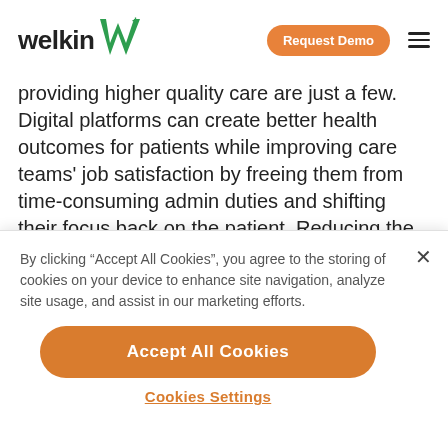welkin [logo] | Request Demo | [hamburger menu]
providing higher quality care are just a few. Digital platforms can create better health outcomes for patients while improving care teams' job satisfaction by freeing them from time-consuming admin duties and shifting their focus back on the patient. Reducing the stress on your care team boosts downstream
By clicking "Accept All Cookies", you agree to the storing of cookies on your device to enhance site navigation, analyze site usage, and assist in our marketing efforts.
Accept All Cookies
Cookies Settings